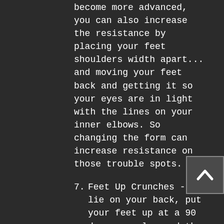become more advanced, you can also increase the resistance by placing your feet shoulders width apart... and moving your feet back and getting it so your eyes are in light with the lines on your inner elbows. So changing the form can increase resistance on those trouble spots.
7. Feet Up Crunches - So lie on your back, put your feet up at a 90 degree angle, and then crunch up and try to smack your feet with your hands... go for 25 reps per set and as many sets as you can do.
8. Flutter Kick Bicycles - So the bottom half does flutter kicks - the top half does the bicycle...